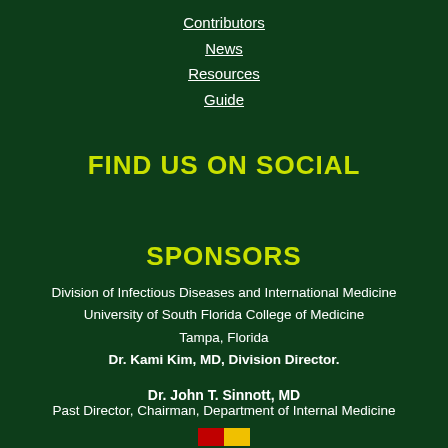Contributors
News
Resources
Guide
FIND US ON SOCIAL
SPONSORS
Division of Infectious Diseases and International Medicine
University of South Florida College of Medicine
Tampa, Florida
Dr. Kami Kim, MD, Division Director.
Dr. John T. Sinnott, MD
Past Director, Chairman, Department of Internal Medicine
[Figure (illustration): Partial flag image at bottom center of page]